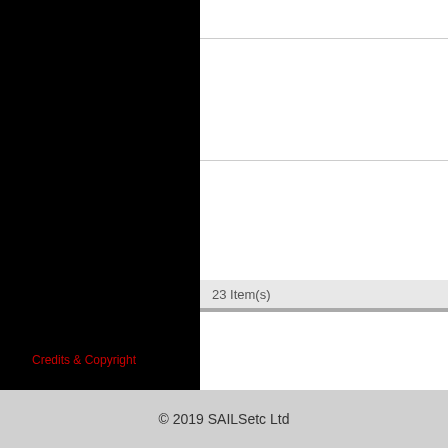[Figure (screenshot): Software interface screenshot showing a white panel on the right with two horizontal divider lines and an item count bar showing '23 Item(s)', overlaid on a black background panel on the left.]
23 Item(s)
Credits & Copyright
© 2019 SAILSetc Ltd